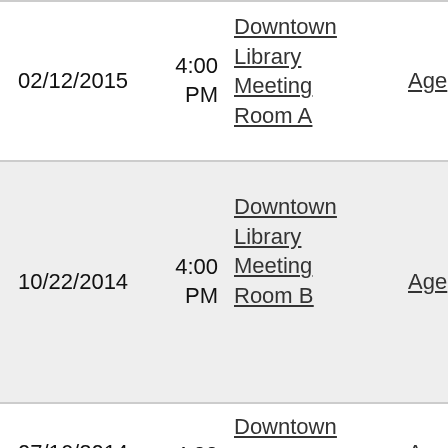| Date | Time | Location | Link |
| --- | --- | --- | --- |
| 02/12/2015 | 4:00 PM | Downtown Library Meeting Room A | Age… |
| 10/22/2014 | 4:00 PM | Downtown Library Meeting Room B | Age… |
| 07/16/2014 | 4:00 PM | Downtown Library Meeting… | Age… |